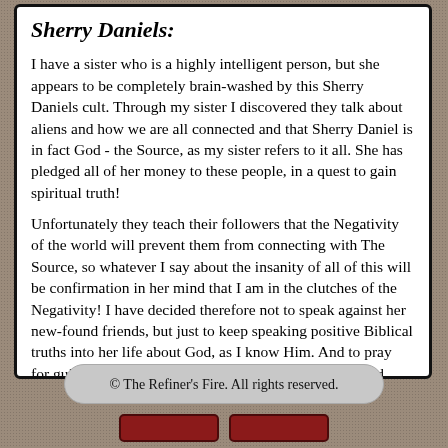Sherry Daniels:
I have a sister who is a highly intelligent person, but she appears to be completely brain-washed by this Sherry Daniels cult. Through my sister I discovered they talk about aliens and how we are all connected and that Sherry Daniel is in fact God - the Source, as my sister refers to it all. She has pledged all of her money to these people, in a quest to gain spiritual truth!
Unfortunately they teach their followers that the Negativity of the world will prevent them from connecting with The Source, so whatever I say about the insanity of all of this will be confirmation in her mind that I am in the clutches of the Negativity! I have decided therefore not to speak against her new-found friends, but just to keep speaking positive Biblical truths into her life about God, as I know Him. And to pray for guidance from Him in declaring spiritual warfare and intervention by Christians on her behalf.
© The Refiner's Fire. All rights reserved.